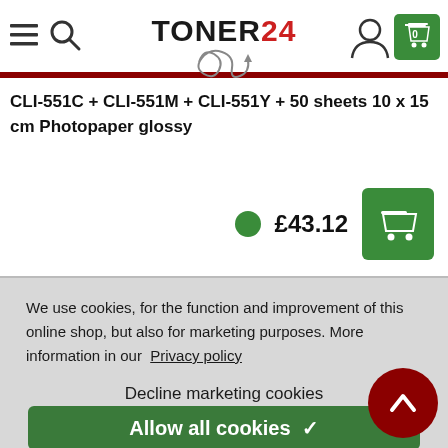[Figure (screenshot): Toner24 website navigation bar with hamburger menu, search icon, TONER24 logo with swirl graphic, user account icon, and green shopping cart button showing 0 items]
CLI-551C + CLI-551M + CLI-551Y + 50 sheets 10 x 15 cm Photopaper glossy
£43.12
We use cookies, for the function and improvement of this online shop, but also for marketing purposes. More information in our Privacy policy
Decline marketing cookies
Allow all cookies ✓